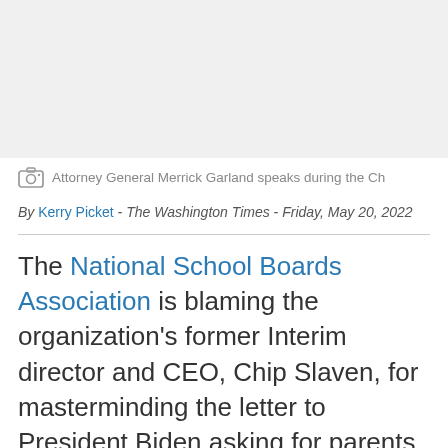[Figure (photo): Photo placeholder area — image of Attorney General Merrick Garland speaking]
Attorney General Merrick Garland speaks during the Ch
By Kerry Picket - The Washington Times - Friday, May 20, 2022
The National School Boards Association is blaming the organization's former Interim director and CEO, Chip Slaven, for masterminding the letter to President Biden asking for parents to be investigated as domestic terrorists.